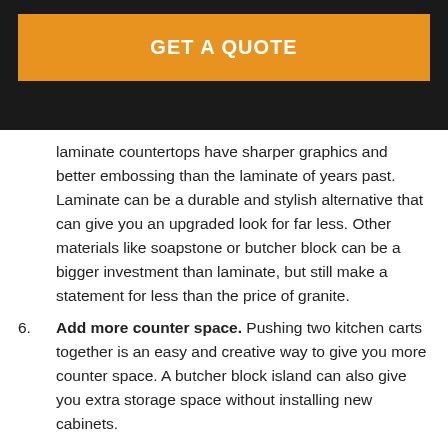GET A QUOTE
laminate countertops have sharper graphics and better embossing than the laminate of years past. Laminate can be a durable and stylish alternative that can give you an upgraded look for far less. Other materials like soapstone or butcher block can be a bigger investment than laminate, but still make a statement for less than the price of granite.
6. Add more counter space. Pushing two kitchen carts together is an easy and creative way to give you more counter space. A butcher block island can also give you extra storage space without installing new cabinets.